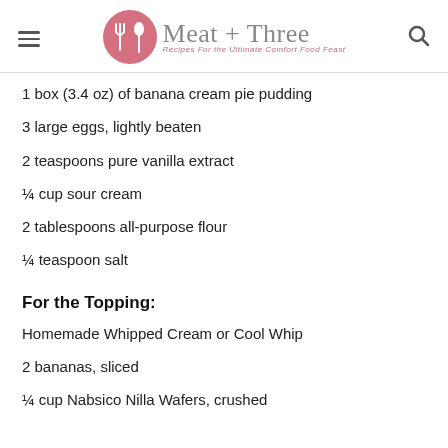Meat + Three – Recipes For the Ultimate Comfort Food Feast
1 box (3.4 oz) of banana cream pie pudding
3 large eggs, lightly beaten
2 teaspoons pure vanilla extract
¼ cup sour cream
2 tablespoons all-purpose flour
¼ teaspoon salt
For the Topping:
Homemade Whipped Cream or Cool Whip
2 bananas, sliced
¼ cup Nabsico Nilla Wafers, crushed